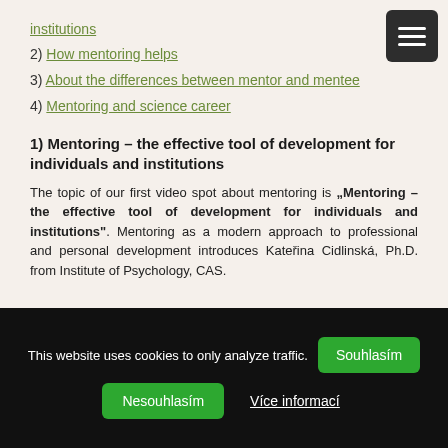institutions
2) How mentoring helps
3) About the differences between mentor and mentee
4) Mentoring and science career
1) Mentoring – the effective tool of development for individuals and institutions
The topic of our first video spot about mentoring is „Mentoring – the effective tool of development for individuals and institutions". Mentoring as a modern approach to professional and personal development introduces Kateřina Cidlinská, Ph.D. from Institute of Psychology, CAS.
This website uses cookies to only analyze traffic. Souhlasím Nesouhlasím Více informací